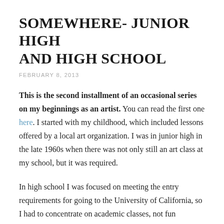SOMEWHERE- JUNIOR HIGH AND HIGH SCHOOL
FEBRUARY 8, 2013
This is the second installment of an occasional series on my beginnings as an artist. You can read the first one here. I started with my childhood, which included lessons offered by a local art organization. I was in junior high in the late 1960s when there was not only still an art class at my school, but it was required.
In high school I was focused on meeting the entry requirements for going to the University of California, so I had to concentrate on academic classes, not fun electives, although I was active in the Drama Dept. for my sophomore and junior years (and those are some